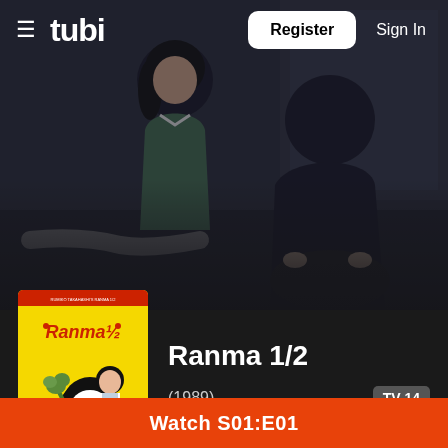[Figure (screenshot): Tubi streaming app screenshot showing Ranma 1/2 anime series page. Background shows anime scene with two characters. Navigation bar has hamburger menu, tubi logo, Register button and Sign In link. Below is a poster for Ranma 1/2 alongside title, year (1989), TV-14 rating badge, and genre pills: Anime, Action, Comedy. Orange button at bottom says Watch S01:E01.]
tubi   Register   Sign In
Ranma 1/2
(1989)
TV-14
Anime
Action
Comedy
Watch S01:E01